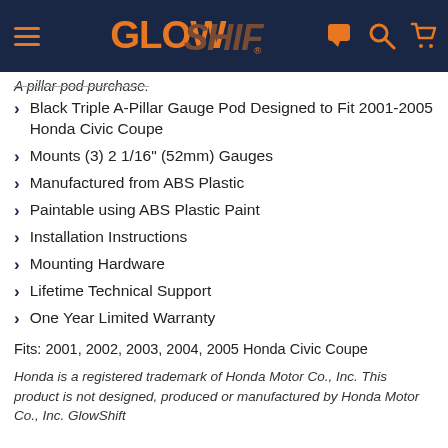GlowShift navigation header
A pillar pod purchase.
Black Triple A-Pillar Gauge Pod Designed to Fit 2001-2005 Honda Civic Coupe
Mounts (3) 2 1/16" (52mm) Gauges
Manufactured from ABS Plastic
Paintable using ABS Plastic Paint
Installation Instructions
Mounting Hardware
Lifetime Technical Support
One Year Limited Warranty
Fits: 2001, 2002, 2003, 2004, 2005 Honda Civic Coupe
Honda is a registered trademark of Honda Motor Co., Inc. This product is not designed, produced or manufactured by Honda Motor Co., Inc. GlowShift